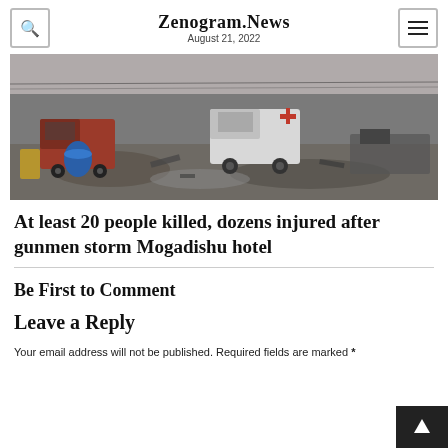Zenogram.News
August 21, 2022
[Figure (photo): Photo of a muddy street after an attack, showing vehicles including a white pickup truck, debris and rubble on the road.]
At least 20 people killed, dozens injured after gunmen storm Mogadishu hotel
Be First to Comment
Leave a Reply
Your email address will not be published. Required fields are marked *